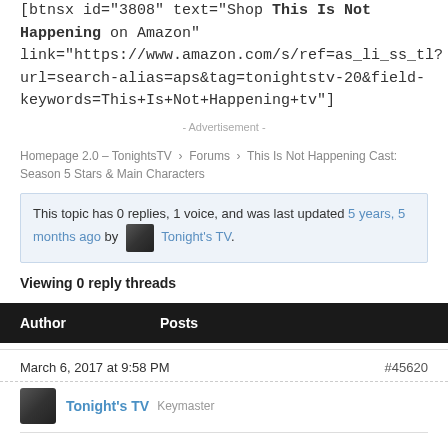[btnsx id="3808" text="Shop This Is Not Happening on Amazon" link="https://www.amazon.com/s/ref=as_li_ss_tl?url=search-alias=aps&tag=tonightstv-20&field-keywords=This+Is+Not+Happening+tv"]
- Advertisement -
Homepage 2.0 – TonightsTV › Forums › This Is Not Happening Cast: Season 5 Stars & Main Characters
This topic has 0 replies, 1 voice, and was last updated 5 years, 5 months ago by Tonight's TV.
Viewing 0 reply threads
| Author | Posts |
| --- | --- |
March 6, 2017 at 9:58 PM
#45620
Tonight's TV  Keymaster